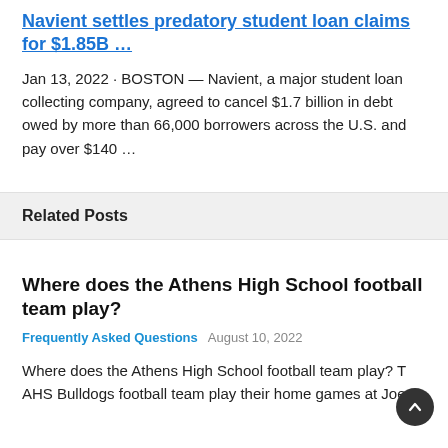Navient settles predatory student loan claims for $1.85B …
Jan 13, 2022 · BOSTON — Navient, a major student loan collecting company, agreed to cancel $1.7 billion in debt owed by more than 66,000 borrowers across the U.S. and pay over $140 …
Related Posts
Where does the Athens High School football team play?
Frequently Asked Questions   August 10, 2022
Where does the Athens High School football team play? The AHS Bulldogs football team play their home games at Joe…